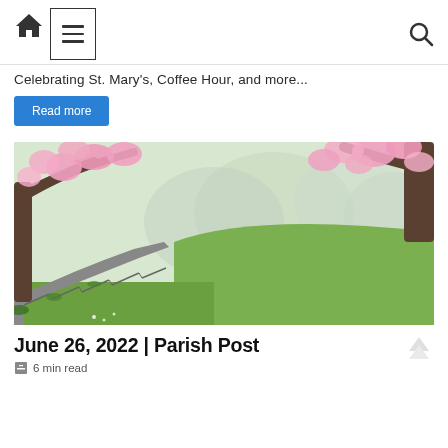Home | Menu | Search
Celebrating St. Mary's, Coffee Hour, and more...
Read more
[Figure (photo): Outdoor stone staircase lined with green grass and moss, with blooming pink magnolia trees overhead and misty trees in the background.]
June 26, 2022 | Parish Post
6 min read